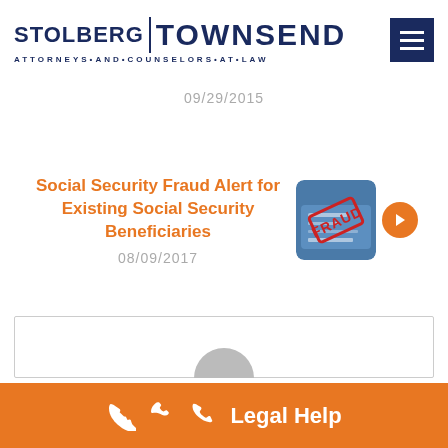[Figure (logo): Stolberg Townsend Attorneys and Counselors at Law logo with dark navy text and hamburger menu icon]
09/29/2015
Social Security Fraud Alert for Existing Social Security Beneficiaries
08/09/2017
[Figure (photo): Social Security card with FRAUD stamp overlay thumbnail image]
Legal Help